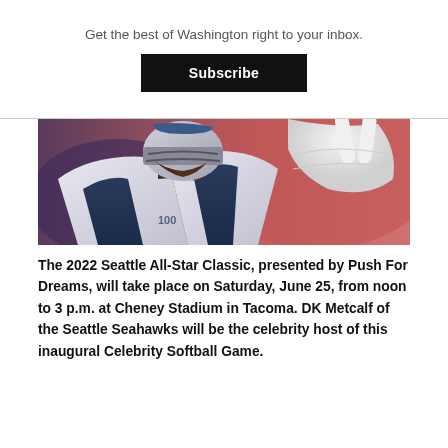Get the best of Washington right to your inbox.
Subscribe
[Figure (photo): Close-up photo of a Seattle Seahawks football player in white uniform and helmet making a peace sign gesture with gloved hand, appears to be DK Metcalf]
The 2022 Seattle All-Star Classic, presented by Push For Dreams, will take place on Saturday, June 25, from noon to 3 p.m. at Cheney Stadium in Tacoma. DK Metcalf of the Seattle Seahawks will be the celebrity host of this inaugural Celebrity Softball Game.